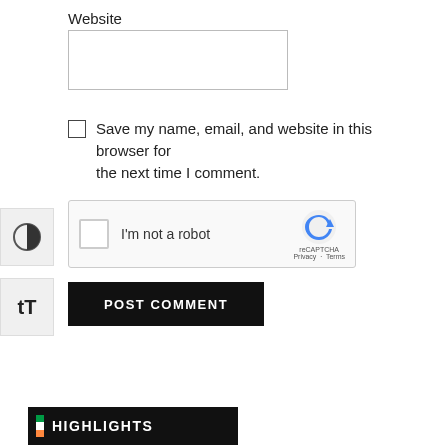Website
[Figure (screenshot): Empty text input field for Website]
Save my name, email, and website in this browser for the next time I comment.
[Figure (screenshot): reCAPTCHA widget with checkbox and 'I'm not a robot' text, reCAPTCHA logo with Privacy and Terms links]
[Figure (screenshot): POST COMMENT button in black]
[Figure (screenshot): HIGHLIGHTS bar with Irish flag stripes in black banner]